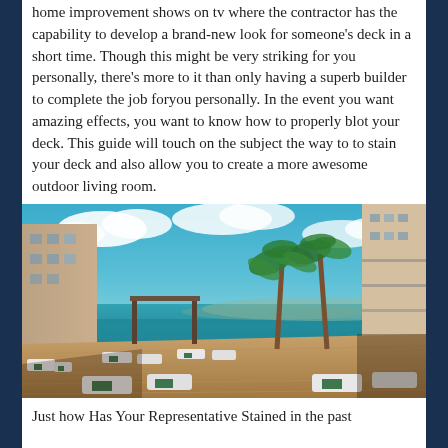home improvement shows on tv where the contractor has the capability to develop a brand-new look for someone's deck in a short time. Though this might be very striking for you personally, there's more to it than only having a superb builder to complete the job foryou personally. In the event you want amazing effects, you want to know how to properly blot your deck. This guide will touch on the subject the way to to stain your deck and also allow you to create a more awesome outdoor living room.
[Figure (photo): Outdoor deck area with lounge chairs and palm trees overlooking a beach/sea, with buildings on either side.]
Just how Has Your Representative Stained in the past